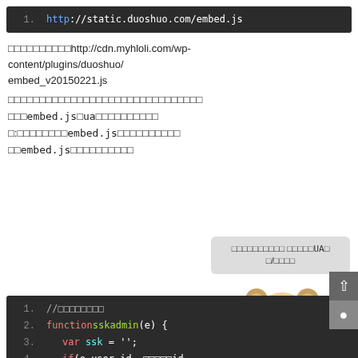[Figure (screenshot): Code block showing line 1: http://static.duoshuo.com/embed.js in a dark terminal/code editor style]
http://cdn.myhloli.com/wp-content/plugins/duoshuo/embed_v20150221.js
Chinese text paragraphs about embed.js and UA settings
[Figure (screenshot): Dark code editor block showing JavaScript function sskadmin(e) with lines 1-9]